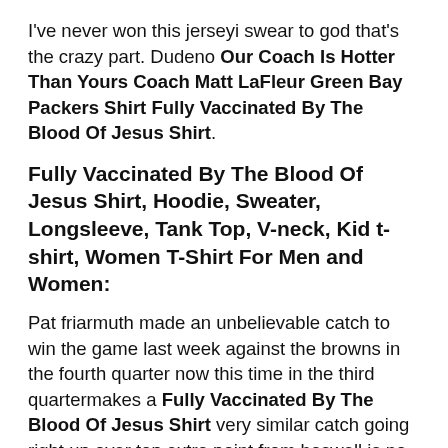I've never won this jerseyi swear to god that's the crazy part. Dudeno Our Coach Is Hotter Than Yours Coach Matt LaFleur Green Bay Packers Shirt Fully Vaccinated By The Blood Of Jesus Shirt.
Fully Vaccinated By The Blood Of Jesus Shirt, Hoodie, Sweater, Longsleeve, Tank Top, V-neck, Kid t-shirt, Women T-Shirt For Men and Women:
Pat friarmuth made an unbelievable catch to win the game last week against the browns in the fourth quarter now this time in the third quartermakes a Fully Vaccinated By The Blood Of Jesus Shirt very similar catch going right up over top extra point from boswell is no good between he and ben between last week and this week. Got an open man and that's chubbthat's the third one brian getting into the backfield and the handoff he throws a lead